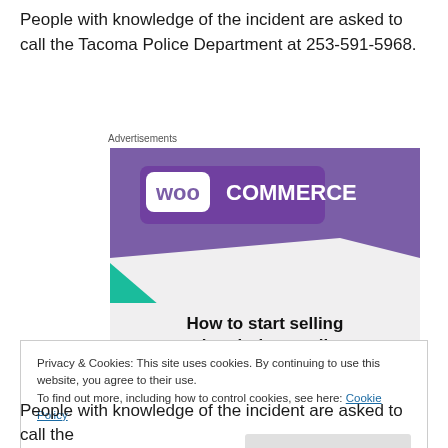People with knowledge of the incident are asked to call the Tacoma Police Department at 253-591-5968.
Advertisements
[Figure (screenshot): WooCommerce advertisement banner with purple header showing WooCommerce logo, teal triangle shape on left, light blue arc on right, and text 'How to start selling subscriptions online']
Privacy & Cookies: This site uses cookies. By continuing to use this website, you agree to their use.
To find out more, including how to control cookies, see here: Cookie Policy
Close and accept
People with knowledge of the incident are asked to call the